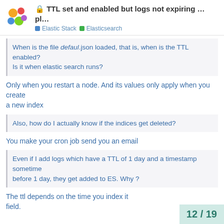TTL set and enabled but logs not expiring …pl… | Elastic Stack | Elasticsearch
When is the file defaul.json loaded, that is, when is the TTL enabled?
Is it when elastic search runs?
Only when you restart a node. And its values only apply when you create a new index
Also, how do I actually know if the indices get deleted?
You make your cron job send you an email
Even if I add logs which have a TTL of 1 day and a timestamp sometime before 1 day, they get added to ES. Why ?
The ttl depends on the time you index it field.
12 / 19